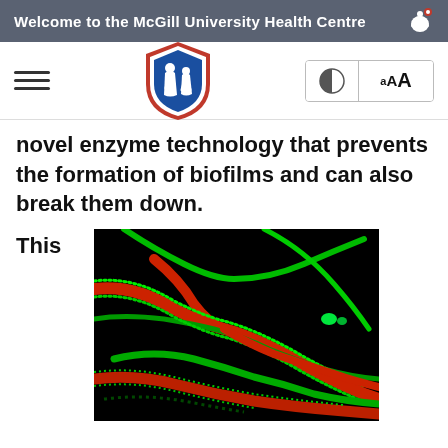Welcome to the McGill University Health Centre
novel enzyme technology that prevents the formation of biofilms and can also break them down.
This
[Figure (photo): Fluorescence microscopy image of biofilms showing red and green filamentous bacterial structures on a black background]